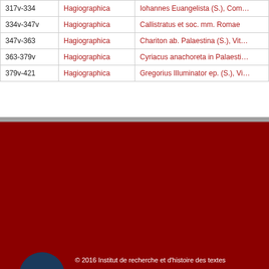| Pages | Category | Title |
| --- | --- | --- |
| 317v-334 | Hagiographica | Iohannes Euangelista (S.), Com... |
| 334v-347v | Hagiographica | Callistratus et soc. mm. Romae |
| 347v-363 | Hagiographica | Chariton ab. Palaestina (S.), Vita |
| 363-379v | Hagiographica | Cyriacus anachoreta in Palaesti... |
| 379v-421 | Hagiographica | Gregorius Illuminator ep. (S.), Vi... |
© 2016 Institut de recherche et d'histoire des textes
Colophon et mentions légales | Contacts - mails
[Figure (logo): CNRS circular logo in dark blue with white 'cnrs' text]
[Figure (logo): IRHT logo in white text on dark red background]
[Figure (logo): Société des Bollandistes logo with saint illustration]
[Figure (logo): Investissements d'Avenir circular blue logo]
[Figure (logo): LABEX RESMED teal wave logo]
[Figure (logo): ERC European Research Council logo]